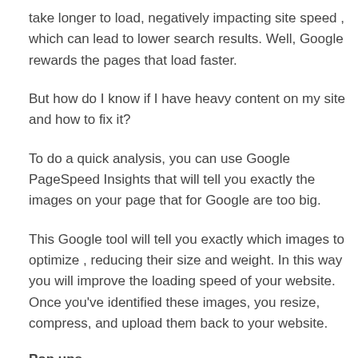take longer to load, negatively impacting site speed , which can lead to lower search results. Well, Google rewards the pages that load faster.
But how do I know if I have heavy content on my site and how to fix it?
To do a quick analysis, you can use Google PageSpeed Insights that will tell you exactly the images on your page that for Google are too big.
This Google tool will tell you exactly which images to optimize , reducing their size and weight. In this way you will improve the loading speed of your website. Once you've identified these images, you resize, compress, and upload them back to your website.
Pop ups